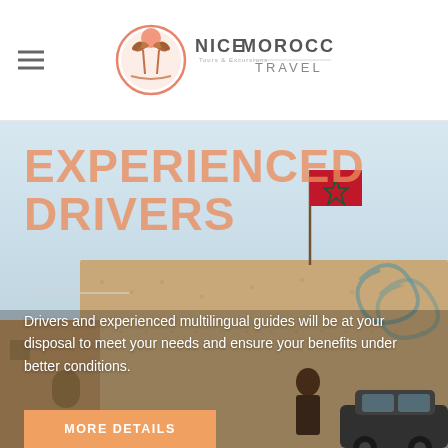Nice Morocco Travel — Tours & Excursions
EXPERIENCED DRIVERS
Drivers and experienced multilingual guides will be at your disposal to meet your needs and ensure your benefits under better conditions.
MORE DETAILS